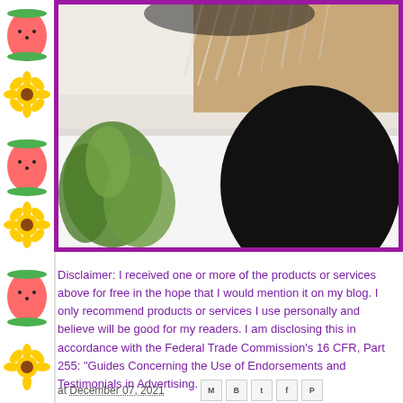[Figure (photo): A photo showing what appears to be a fluffy stuffed animal or pet toy with black and white fur/fabric on white bedding, with green plants in the background, framed with a purple border.]
Disclaimer: I received one or more of the products or services above for free in the hope that I would mention it on my blog. I only recommend products or services I use personally and believe will be good for my readers. I am disclosing this in accordance with the Federal Trade Commission's 16 CFR, Part 255: "Guides Concerning the Use of Endorsements and Testimonials in Advertising.
at December 07, 2021